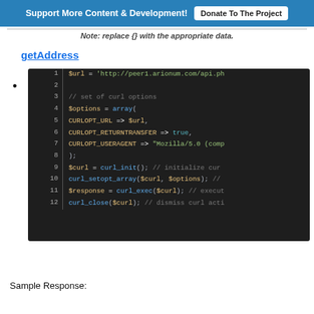Support More Content & Development! | Donate To The Project
Note: replace {} with the appropriate data.
getAddress
[Figure (screenshot): PHP code block showing curl API call setup with lines 1-12: setting $url, $options array with CURLOPT_URL, CURLOPT_RETURNTRANSFER, CURLOPT_USERAGENT, then curl_init(), curl_setopt_array(), curl_exec(), curl_close()]
Sample Response: